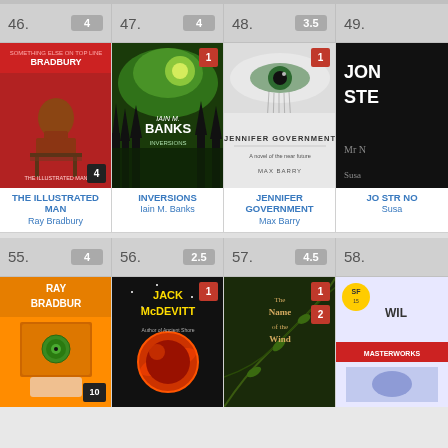| 46. | 47. | 48. | 49. |
| --- | --- | --- | --- |
| THE ILLUSTRATED MAN / Ray Bradbury [4] | INVERSIONS / Iain M. Banks [1] | JENNIFER GOVERNMENT / Max Barry [1] | JO STR NO / Susa [partial] |
| 55. [4] | 56. [2.5] | 57. [4.5] | 58. |